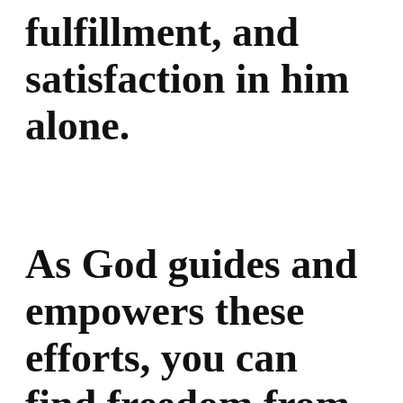fulfillment, and satisfaction in him alone.
As God guides and empowers these efforts, you can find freedom from the idols that fuel